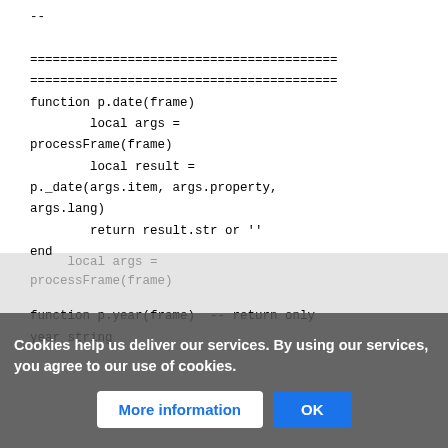--

=========================================
=========================================
function p.date(frame)
        local args =
processFrame(frame)
        local result =
p._date(args.item, args.property,
args.lang)
        return result.str or ''
end


function p.year(frame)  -- return only
year string
Cookies help us deliver our services. By using our services, you agree to our use of cookies.